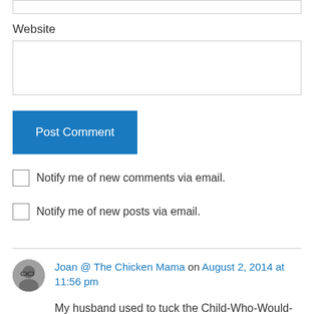Website
Post Comment
Notify me of new comments via email.
Notify me of new posts via email.
Joan @ The Chicken Mama on August 2, 2014 at 11:56 pm
My husband used to tuck the Child-Who-Would-Not-Sleep into the mini-van at 4am and drive out to the airport, under construction at the time, and